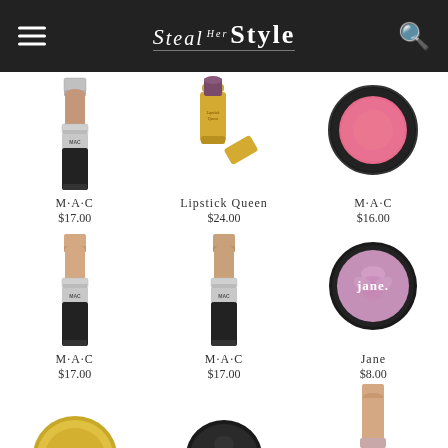Steal Her Style
[Figure (photo): MAC lipstick product photo]
M·A·C
$17.00
[Figure (photo): Lipstick Queen gold lipstick product photo]
Lipstick Queen
$24.00
[Figure (photo): MAC blush compact product photo]
M·A·C
$16.00
[Figure (photo): MAC lipstick nude product photo]
M·A·C
$17.00
[Figure (photo): MAC lipstick nude second product photo]
M·A·C
$17.00
[Figure (photo): Jane cosmetics compact product photo]
Jane
$8.00
[Figure (photo): Bottom partial product 1]
[Figure (photo): Bottom partial product 2]
[Figure (photo): Bottom partial product 3]